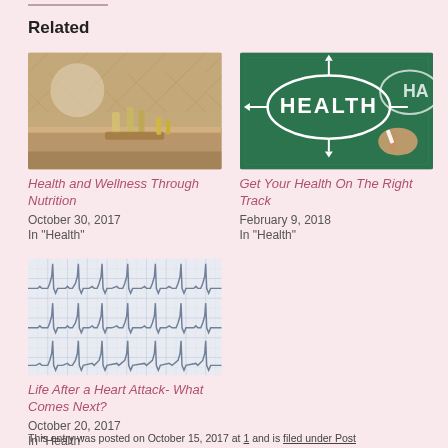Related
[Figure (photo): Interior spa/wellness scene with oils and bottles on a tray, blurred background with decorative wall]
Health and Wellness Through Nutrition
October 30, 2017
In "Health"
[Figure (photo): Chalkboard with HEALTH written in an oval diagram with arrows, hand holding chalk]
Get Your Health On The Right Track
February 9, 2018
In "Health"
[Figure (photo): ECG/EKG heart monitor paper printout showing heartbeat waveforms on grid paper]
Life After a Heart Attack- What Comes Next?
October 20, 2017
In "Health"
This entry was posted on October 15, 2017 at [truncated] and is filed under Post [truncated]